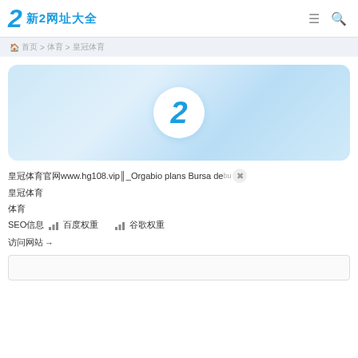新2网址大全
首页 > 体育 > 皇冠体育
[Figure (logo): Large blue '2' logo on a light blue gradient banner background]
皇冠体育官网www.hg108.vip║_Orgabio plans Bursa debut
皇冠体育
体育
SEO信息 📊 百度权重  📊 谷歌权重
访问网站→